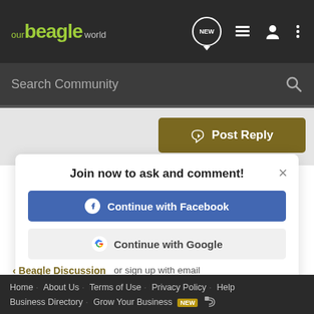our beagle world
Search Community
Post Reply
Join now to ask and comment!
Continue with Facebook
Continue with Google
or sign up with email
Beagle Discussion
Home  About Us  Terms of Use  Privacy Policy  Help  Business Directory  Grow Your Business  NEW
VerticalScope Inc., 111 Peter Street, Suite 600, Toronto, Ontario, M5V 2H1, Canada
The Fora platform includes forum software by XenForo